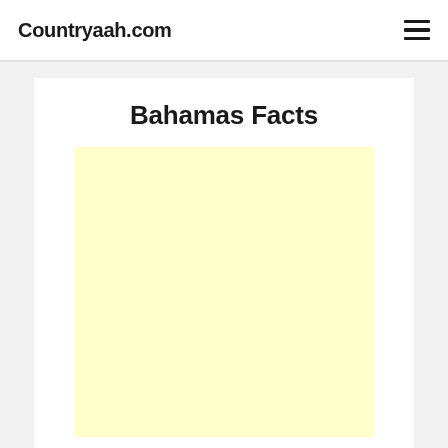Countryaah.com
Bahamas Facts
[Figure (other): Yellow advertisement placeholder box]